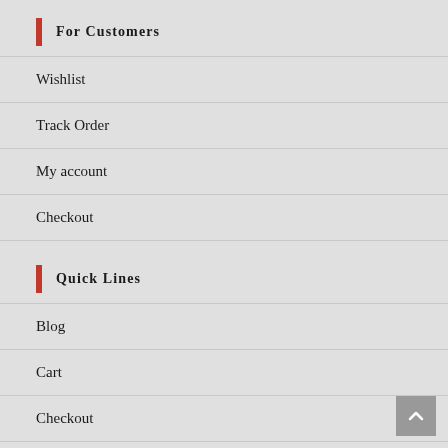For Customers
Wishlist
Track Order
My account
Checkout
Quick Lines
Blog
Cart
Checkout
My account